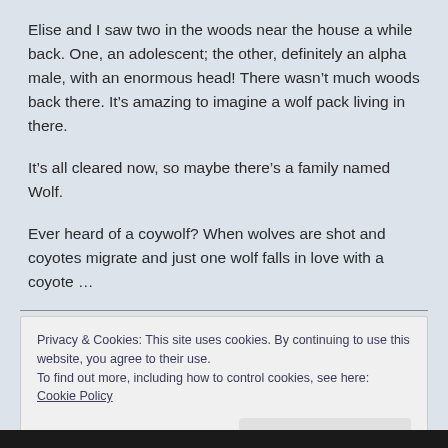Elise and I saw two in the woods near the house a while back. One, an adolescent; the other, definitely an alpha male, with an enormous head! There wasn't much woods back there. It's amazing to imagine a wolf pack living in there.
It's all cleared now, so maybe there's a family named Wolf.
Ever heard of a coywolf? When wolves are shot and coyotes migrate and just one wolf falls in love with a coyote …
Privacy & Cookies: This site uses cookies. By continuing to use this website, you agree to their use. To find out more, including how to control cookies, see here: Cookie Policy
Close and accept